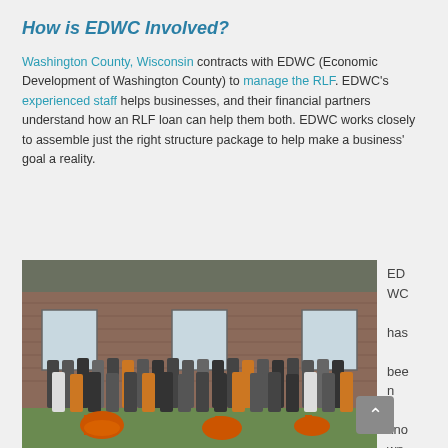How is EDWC Involved?
Washington County, Wisconsin contracts with EDWC (Economic Development of Washington County) to manage the RLF. EDWC's experienced staff helps businesses, and their financial partners understand how an RLF loan can help them both. EDWC works closely to assemble just the right structure package to help make a business' goal a reality.
[Figure (photo): Group photo of EDWC staff standing outside a brick building on a lawn, with orange equipment in the foreground.]
EDWC has been known to